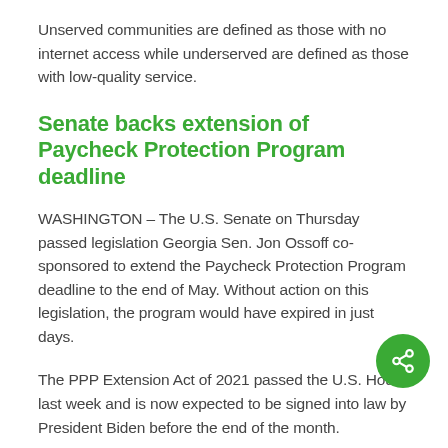Unserved communities are defined as those with no internet access while underserved are defined as those with low-quality service.
Senate backs extension of Paycheck Protection Program deadline
WASHINGTON – The U.S. Senate on Thursday passed legislation Georgia Sen. Jon Ossoff co-sponsored to extend the Paycheck Protection Program deadline to the end of May. Without action on this legislation, the program would have expired in just days.
The PPP Extension Act of 2021 passed the U.S. House last week and is now expected to be signed into law by President Biden before the end of the month.